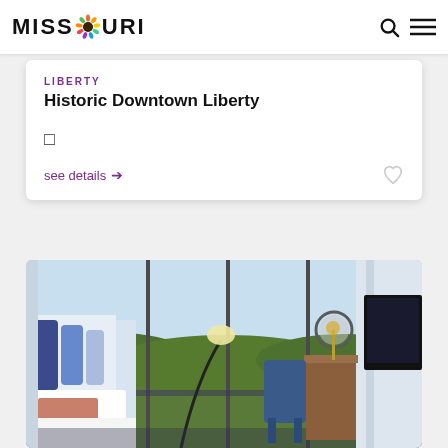MISSOURI
LIBERTY
Historic Downtown Liberty
see details →
[Figure (photo): Hotel room interior with large floor-to-ceiling windows overlooking a green tree canopy and water, featuring a bed with decorative pillows, a blue chair, and a wooden desk area with a round mirror and lamp]